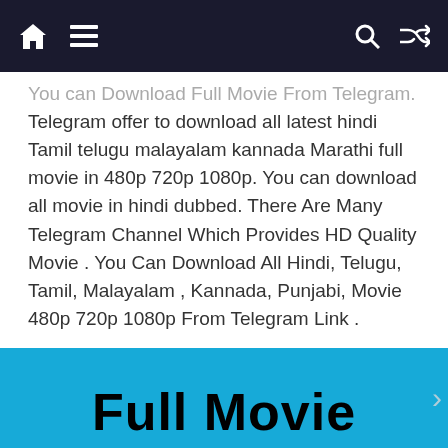Navigation bar with home, menu, search, and shuffle icons
You can Download Full Movie From Telegram. Telegram offer to download all latest hindi Tamil telugu malayalam kannada Marathi full movie in 480p 720p 1080p. You can download all movie in hindi dubbed. There Are Many Telegram Channel Which Provides HD Quality Movie . You Can Download All Hindi, Telugu, Tamil, Malayalam , Kannada, Punjabi, Movie 480p 720p 1080p From Telegram Link .
If You Want To Download Full Movie In Hindi Dubbed Then Skip To The Last Portion Of Post. You Can Download Full Movie In Just A Click.
[Figure (other): Blue banner with bold black text reading 'Full Movie' partially visible at the bottom of the page]